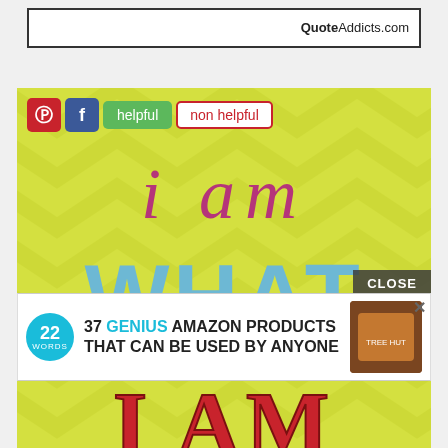[Figure (screenshot): QuoteAddicts.com logo box with border at top of page]
[Figure (screenshot): Social sharing buttons: Pinterest, Facebook, 'helpful' (green), 'non helpful' (red outline) overlaid on quote image]
[Figure (illustration): Yellow-green chevron pattern background with text 'i am WHAT I AM' in multiple colors: 'i am' in pink/magenta italic, 'WHAT' in light blue bold, 'I AM' in red bold serif. A 'CLOSE' button overlay in dark gray, and an advertisement banner for '37 GENIUS AMAZON PRODUCTS THAT CAN BE USED BY ANYONE' with 22 Words logo and product image.]